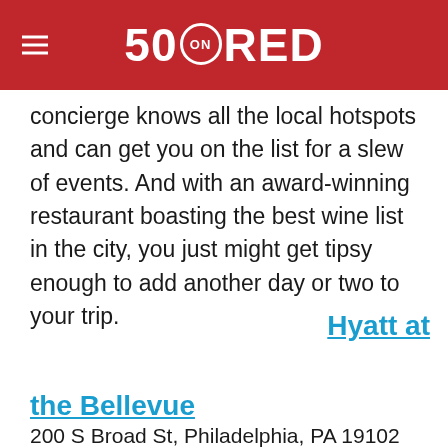50 ON RED
concierge knows all the local hotspots and can get you on the list for a slew of events. And with an award-winning restaurant boasting the best wine list in the city, you just might get tipsy enough to add another day or two to your trip.
Hyatt at
the Bellevue
200 S Broad St, Philadelphia, PA 19102